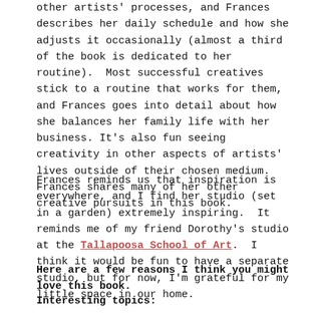other artists' processes, and Frances describes her daily schedule and how she adjusts it occasionally (almost a third of the book is dedicated to her routine). Most successful creatives stick to a routine that works for them, and Frances goes into detail about how she balances her family life with her business. It's also fun seeing creativity in other aspects of artists' lives outside of their chosen medium. Frances shares many of her other creative pursuits in this book.
Frances reminds us that inspiration is everywhere, and I find her studio (set in a garden) extremely inspiring. It reminds me of my friend Dorothy's studio at the Tallapoosa School of Art. I think it would be fun to have a separate studio, but for now, I'm grateful for my little space in our home.
Here are a few reasons I think you might love this book.
Interesting topics: